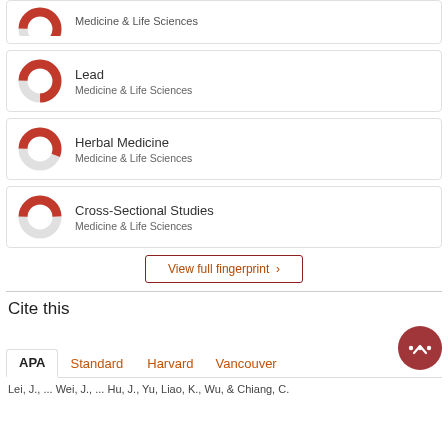[Figure (donut-chart): Partial donut chart icon for Medicine & Life Sciences (top, cropped)]
Medicine & Life Sciences
[Figure (donut-chart): ~75% filled donut chart in red/gray for Lead]
Lead
Medicine & Life Sciences
[Figure (donut-chart): ~55% filled donut chart in red/gray for Herbal Medicine]
Herbal Medicine
Medicine & Life Sciences
[Figure (donut-chart): ~50% filled donut chart in red/gray for Cross-Sectional Studies]
Cross-Sectional Studies
Medicine & Life Sciences
View full fingerprint >
Cite this
APA   Standard   Harvard   Vancouver   ...
Lei, J., ... Wei, J., ... Liu, J., Yu, Liao, K., Wu, & Chiang, C.